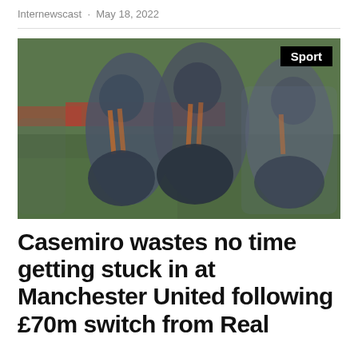Internewscast · May 18, 2022
[Figure (photo): Blurred photo of football players in dark blue/grey kits with orange stripe detail training on a grass pitch. A red advertising board is visible in the background. A black 'Sport' badge is overlaid in the top-right corner.]
Casemiro wastes no time getting stuck in at Manchester United following £70m switch from Real Madrid